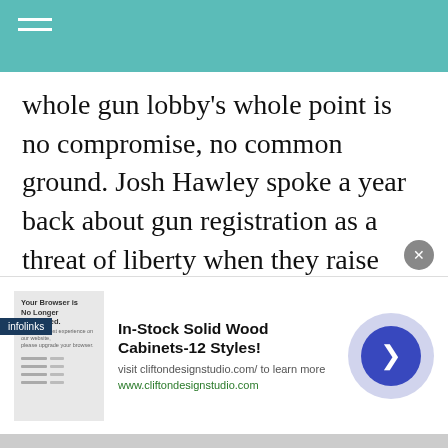whole gun lobby's whole point is no compromise, no common ground. Josh Hawley spoke a year back about gun registration as a threat of liberty when they raise background check. And he didn't mention it, but this is a canard based on a fabulous distortion of the Holocaust, claiming prior gun registration lists enabled it, right? This is completely false, but it is the kind of propaganda that the gun lobby has used in
[Figure (screenshot): Advertisement overlay: 'In-Stock Solid Wood Cabinets-12 Styles!' with infolinks badge, close button, and navigation arrow circle]